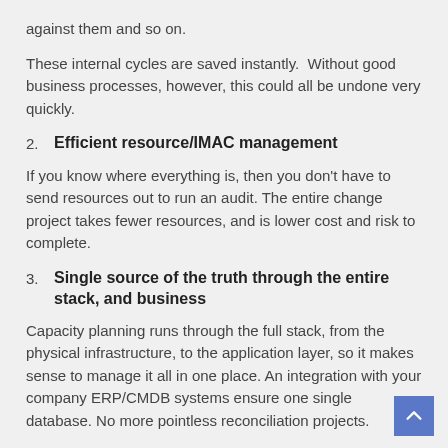against them and so on.
These internal cycles are saved instantly.  Without good business processes, however, this could all be undone very quickly.
2. Efficient resource/IMAC management
If you know where everything is, then you don't have to send resources out to run an audit. The entire change project takes fewer resources, and is lower cost and risk to complete.
3. Single source of the truth through the entire stack, and business
Capacity planning runs through the full stack, from the physical infrastructure, to the application layer, so it makes sense to manage it all in one place. An integration with your company ERP/CMDB systems ensure one single database. No more pointless reconciliation projects.
4. Essential foundation for DCIM and SDDC